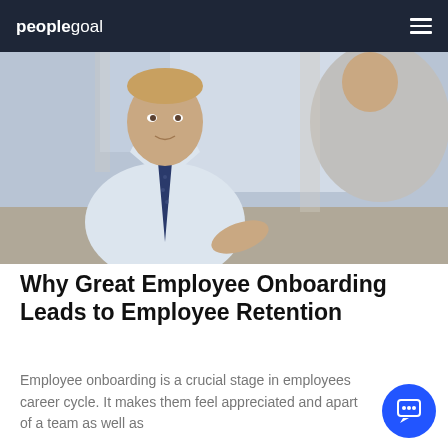peoplegoal
[Figure (photo): Two businessmen in a meeting; one facing the camera wearing a white shirt and navy tie, the other seen from behind in a grey suit]
Why Great Employee Onboarding Leads to Employee Retention
Employee onboarding is a crucial stage in employees career cycle. It makes them feel appreciated and apart of a team as well as